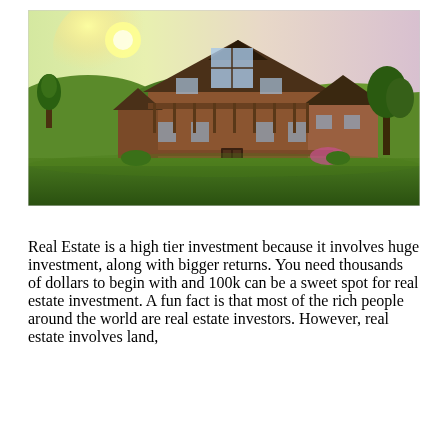[Figure (photo): Photograph of a large two-story wooden house with a wide green lawn in the foreground, trees and rolling hills in the background, warm sunset sky with pinkish hues on the right side.]
Real Estate is a high tier investment because it involves huge investment, along with bigger returns. You need thousands of dollars to begin with and 100k can be a sweet spot for real estate investment. A fun fact is that most of the rich people around the world are real estate investors. However, real estate involves land,